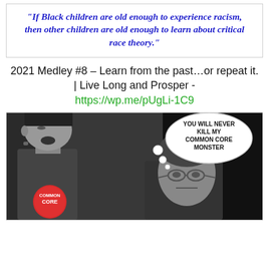“If Black children are old enough to experience racism, then other children are old enough to learn about critical race theory.”
2021 Medley #8 – Learn from the past…or repeat it. | Live Long and Prosper - https://wp.me/pUgLi-1C9
[Figure (illustration): Black and white photo of two people; on the left a tall Frankenstein-like figure, on the right a man with glasses. A thought bubble reads 'YOU WILL NEVER KILL MY COMMON CORE MONSTER'. A red Common Core badge is visible at the bottom left.]